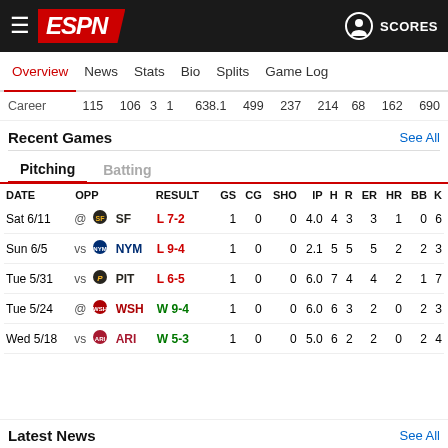ESPN — SCORES
Overview | News | Stats | Bio | Splits | Game Log
|  | 115 | 106 | 3 | 1 | 638.1 | 499 | 237 | 214 | 68 | 162 | 690 |
| --- | --- | --- | --- | --- | --- | --- | --- | --- | --- | --- | --- |
| Career | 115 | 106 | 3 | 1 | 638.1 | 499 | 237 | 214 | 68 | 162 | 690 |
Recent Games — See All
Pitching | Batting
| DATE | OPP | RESULT | GS | CG | SHO | IP | H | R | ER | HR | BB | K |
| --- | --- | --- | --- | --- | --- | --- | --- | --- | --- | --- | --- | --- |
| Sat 6/11 | @ SF | L 7-2 | 1 | 0 | 0 | 4.0 | 4 | 3 | 3 | 1 | 0 | 6 |
| Sun 6/5 | vs NYM | L 9-4 | 1 | 0 | 0 | 2.1 | 5 | 5 | 5 | 2 | 2 | 3 |
| Tue 5/31 | vs PIT | L 6-5 | 1 | 0 | 0 | 6.0 | 7 | 4 | 4 | 2 | 1 | 7 |
| Tue 5/24 | @ WSH | W 9-4 | 1 | 0 | 0 | 6.0 | 6 | 3 | 2 | 0 | 2 | 3 |
| Wed 5/18 | vs ARI | W 5-3 | 1 | 0 | 0 | 5.0 | 6 | 2 | 2 | 0 | 2 | 4 |
Latest News — See All